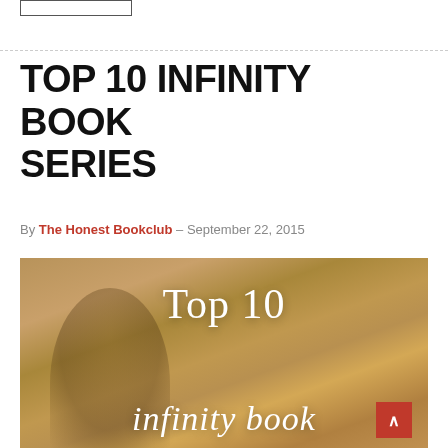TOP 10 INFINITY BOOK SERIES
By The Honest Bookclub – September 22, 2015
[Figure (photo): A woman reading a book outdoors among foliage, with overlay text reading 'Top 10' and 'infinity book' in white serif font on a warm golden-toned background.]